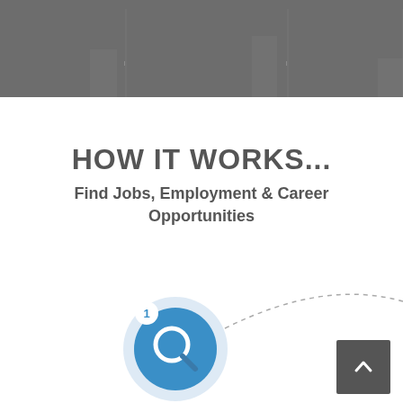[Figure (screenshot): Grey header bar with faint vertical column chart lines visible in the background]
HOW IT WORKS...
Find Jobs, Employment & Career Opportunities
[Figure (infographic): Step 1 icon: a blue circle with a magnifying glass icon and a small white badge showing the number 1, with a dashed arc line extending to the right]